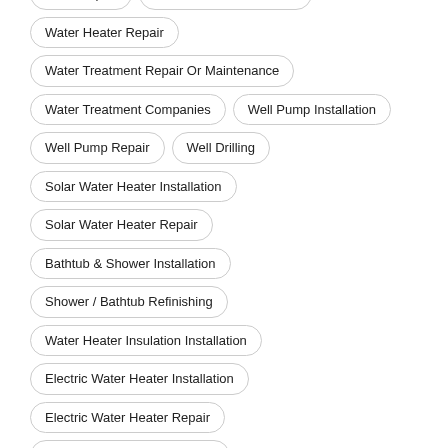Toilet Repair
Water Heater Installation
Water Heater Repair
Water Treatment Repair Or Maintenance
Water Treatment Companies
Well Pump Installation
Well Pump Repair
Well Drilling
Solar Water Heater Installation
Solar Water Heater Repair
Bathtub & Shower Installation
Shower / Bathtub Refinishing
Water Heater Insulation Installation
Electric Water Heater Installation
Electric Water Heater Repair
Gas Water Heater Installation
Gas Water Heater Repair
Water Heater Leak Repair
Near By Cities